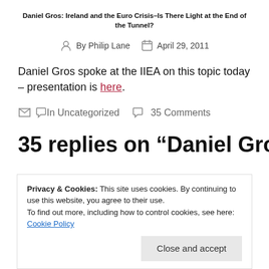Daniel Gros: Ireland and the Euro Crisis–Is There Light at the End of the Tunnel?
By Philip Lane   April 29, 2011
Daniel Gros spoke at the IIEA on this topic today – presentation is here.
In Uncategorized   35 Comments
35 replies on “Daniel Gros:
Privacy & Cookies: This site uses cookies. By continuing to use this website, you agree to their use. To find out more, including how to control cookies, see here: Cookie Policy